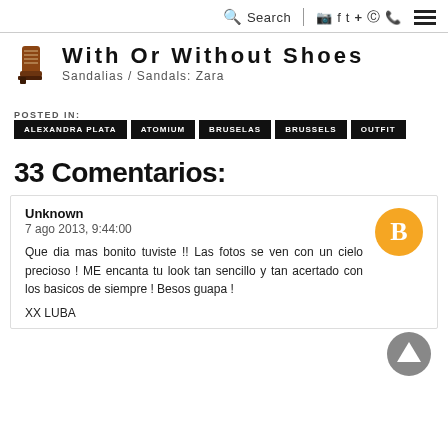Search | social icons | hamburger menu
With Or Without Shoes
Sandalias / Sandals: Zara
POSTED IN: ALEXANDRA PLATA  ATOMIUM  BRUSELAS  BRUSSELS  OUTFIT
33 Comentarios:
Unknown
7 ago 2013, 9:44:00

Que dia mas bonito tuviste !! Las fotos se ven con un cielo precioso ! ME encanta tu look tan sencillo y tan acertado con los basicos de siempre ! Besos guapa !

XX LUBA